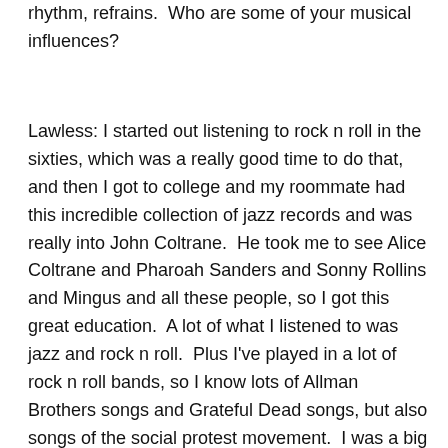rhythm, refrains.  Who are some of your musical influences?
Lawless: I started out listening to rock n roll in the sixties, which was a really good time to do that, and then I got to college and my roommate had this incredible collection of jazz records and was really into John Coltrane.  He took me to see Alice Coltrane and Pharoah Sanders and Sonny Rollins and Mingus and all these people, so I got this great education.  A lot of what I listened to was jazz and rock n roll.  Plus I've played in a lot of rock n roll bands, so I know lots of Allman Brothers songs and Grateful Dead songs, but also songs of the social protest movement.  I was a big Pete Seeger fan, and around here I was a Gordon Bok fan, I still like Gordon.